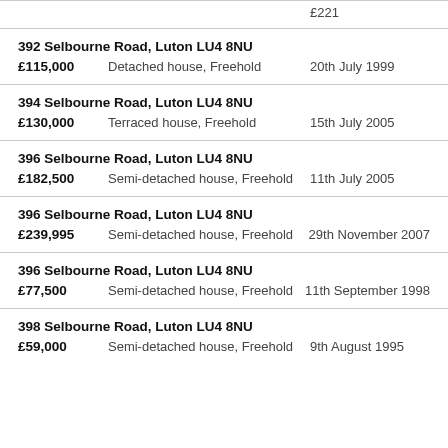392 Selbourne Road, Luton LU4 8NU — £115,000, Detached house, Freehold, 20th July 1999
394 Selbourne Road, Luton LU4 8NU — £130,000, Terraced house, Freehold, 15th July 2005
396 Selbourne Road, Luton LU4 8NU — £182,500, Semi-detached house, Freehold, 11th July 2005
396 Selbourne Road, Luton LU4 8NU — £239,995, Semi-detached house, Freehold, 29th November 2007
396 Selbourne Road, Luton LU4 8NU — £77,500, Semi-detached house, Freehold, 11th September 1998
398 Selbourne Road, Luton LU4 8NU — £59,000, Semi-detached house, Freehold, 9th August 1995